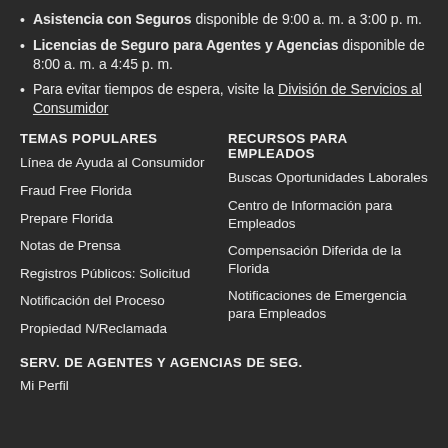Asistencia con Seguros disponible de 9:00 a. m. a 3:00 p. m.
Licencias de Seguro para Agentes y Agencias disponible de 8:00 a. m. a 4:45 p. m.
Para evitar tiempos de espera, visite la División de Servicios al Consumidor
TEMAS POPULARES
Línea de Ayuda al Consumidor
Fraud Free Florida
Prepare Florida
Notas de Prensa
Registros Públicos: Solicitud
Notificación del Proceso
Propiedad N/Reclamada
RECURSOS PARA EMPLEADOS
Buscas Oportunidades Laborales
Centro de Información para Empleados
Compensación Diferida de la Florida
Notificaciones de Emergencia para Empleados
SERV. DE AGENTES Y AGENCIAS DE SEG.
Mi Perfil